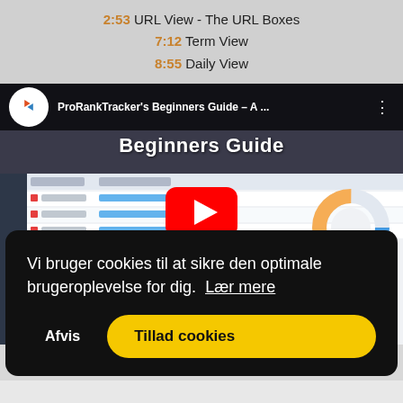2:53 URL View - The URL Boxes
7:12 Term View
8:55 Daily View
[Figure (screenshot): YouTube video thumbnail for ProRankTracker's Beginners Guide showing a dashboard interface with a red play button overlay]
Vi bruger cookies til at sikre den optimale brugeroplevelse for dig.  Lær mere
Afvis
Tillad cookies
A 1... generate, and view any report type